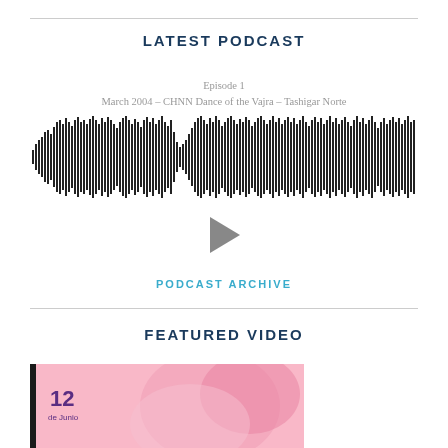LATEST PODCAST
Episode 1
March 2004 – CHNN Dance of the Vajra – Tashigar Norte
[Figure (other): Audio waveform visualization showing sound amplitude bars for a podcast episode]
[Figure (other): Play button triangle icon for the podcast player]
PODCAST ARCHIVE
FEATURED VIDEO
[Figure (photo): Video thumbnail showing date 12 de Junio with pink floral background]